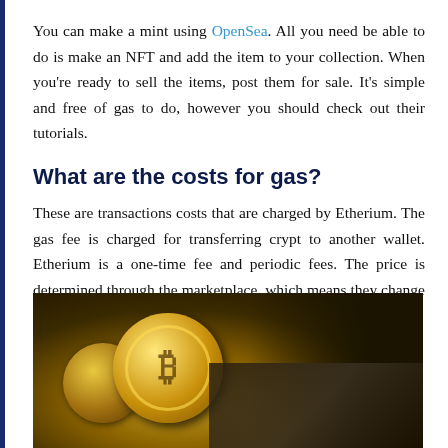You can make a mint using OpenSea. All you need be able to do is make an NFT and add the item to your collection. When you're ready to sell the items, post them for sale. It's simple and free of gas to do, however you should check out their tutorials.
What are the costs for gas?
These are transactions costs that are charged by Etherium. The gas fee is charged for transferring crypt to another wallet. Etherium is a one-time fee and periodic fees. The price is determined through the marketplace, which means they change at regular intervals.
[Figure (photo): Close-up photo of gold Bitcoin/cryptocurrency coins on a dark background, suggesting crypto/blockchain theme.]